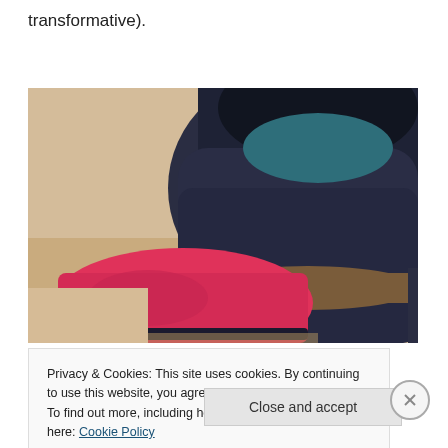transformative).
[Figure (photo): Close-up photo of two shoes: a pink/red sneaker on the left and a dark navy/black boot on the right, shot from above at an angle on a light beige floor.]
Privacy & Cookies: This site uses cookies. By continuing to use this website, you agree to their use.
To find out more, including how to control cookies, see here: Cookie Policy
Close and accept